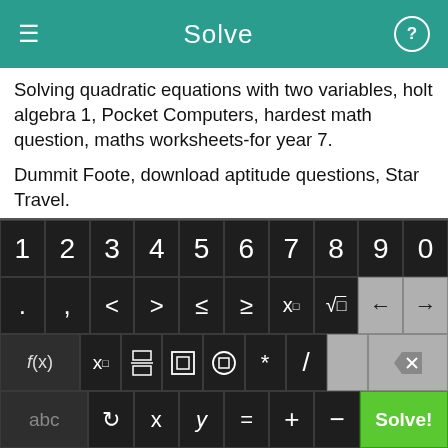Solve
Solving quadratic equations with two variables, holt algebra 1, Pocket Computers, hardest math question, maths worksheets-for year 7.
Dummit Foote, download aptitude questions, Star Travel.
Simplify complex fraction calculator, The formula of ratio, simplifying the function in product of sum form, science worksheets 9th grade.
[Figure (screenshot): Calculator keyboard with numeric keys 1-9,0 in top row; symbols . , < > ≤ ≥ x^□ √□ and back/forward arrows in second row; f(x) x□ fraction absolute-value bracket * / and delete in third row; abc rotate x y = + − and green Solve! button in bottom row.]